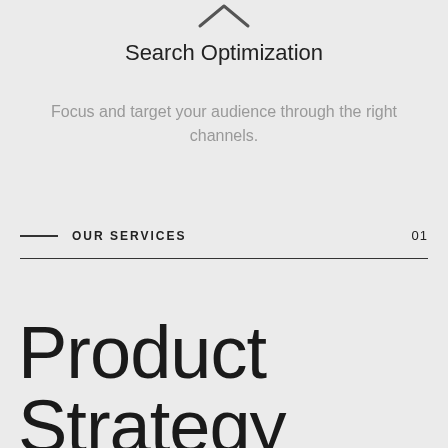[Figure (illustration): Upward chevron/caret icon at the top center of the page]
Search Optimization
Focus and target your audience through the right channels.
OUR SERVICES  01
Product Strategy